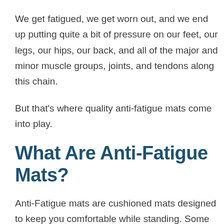We get fatigued, we get worn out, and we end up putting quite a bit of pressure on our feet, our legs, our hips, our back, and all of the major and minor muscle groups, joints, and tendons along this chain.
But that's where quality anti-fatigue mats come into play.
What Are Anti-Fatigue Mats?
Anti-Fatigue mats are cushioned mats designed to keep you comfortable while standing. Some common use cases for anti-fatigue mats are: